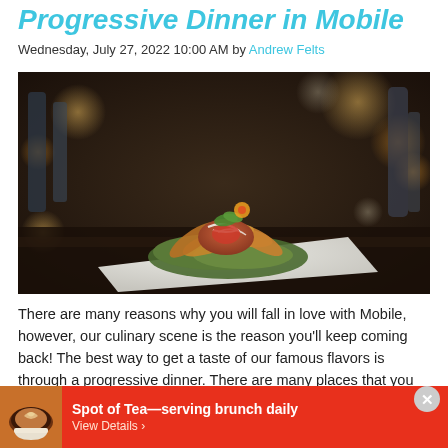Progressive Dinner in Mobile
Wednesday, July 27, 2022 10:00 AM by Andrew Felts
[Figure (photo): A plated salad dish with crispy tortilla chips, toppings and garnish served on a white rectangular plate on a dark bar counter, with bokeh bar background lighting]
There are many reasons why you will fall in love with Mobile, however, our culinary scene is the reason you'll keep coming back! The best way to get a taste of our famous flavors is through a progressive dinner. There are many places that you can visit, but we've put it together to get started:
Spot of Tea—serving brunch daily
View Details ›